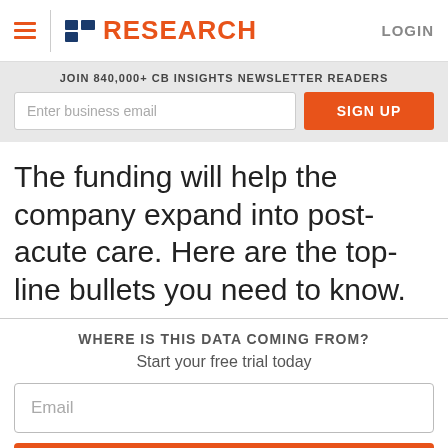CB Insights RESEARCH  LOGIN
JOIN 840,000+ CB INSIGHTS NEWSLETTER READERS
The funding will help the company expand into post-acute care. Here are the top-line bullets you need to know.
WHERE IS THIS DATA COMING FROM?
Start your free trial today